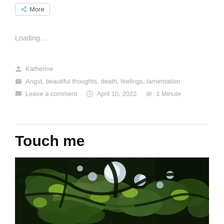More
Loading...
Katherine
Angst, beautiful thoughts, death, feelings, lamentation
Leave a comment   April 10, 2022   1 Minute
Touch me
[Figure (photo): Close-up photograph of green leaves and foliage backlit by bright sunlight against a dark background]